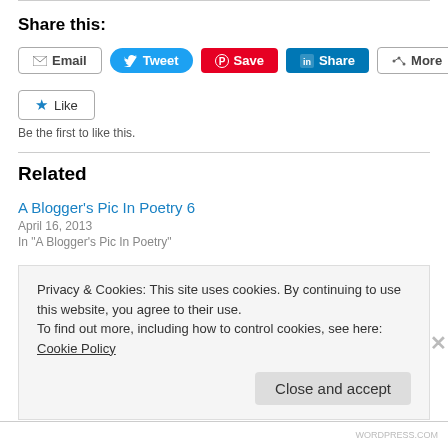Share this:
[Figure (screenshot): Social sharing buttons row: Email, Tweet, Save (Pinterest), Share (LinkedIn), More]
[Figure (screenshot): Like button with star icon]
Be the first to like this.
Related
A Blogger's Pic In Poetry 6
April 16, 2013
In "A Blogger's Pic In Poetry"
Privacy & Cookies: This site uses cookies. By continuing to use this website, you agree to their use.
To find out more, including how to control cookies, see here: Cookie Policy
Close and accept